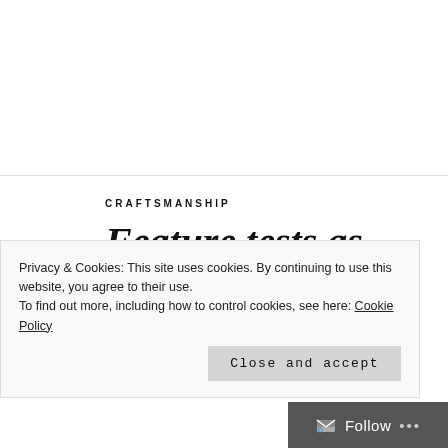CRAFTSMANSHIP
Feature tests as interactive documentation
APRIL 2, 2015 | PRAFUL TODKAR
Privacy & Cookies: This site uses cookies. By continuing to use this website, you agree to their use. To find out more, including how to control cookies, see here: Cookie Policy
Close and accept
Follow